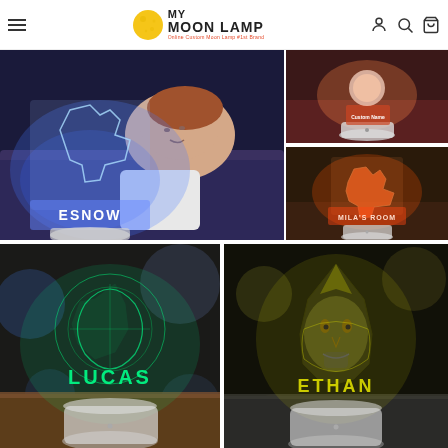My Moon Lamp - Online Custom Moon Lamp #1st Brand
[Figure (photo): Large photo of a child lying in bed next to a glowing blue 3D acrylic LED lamp shaped like a T-Rex dinosaur with the name 'ESNOW' on the base]
[Figure (photo): Small photo showing a pink/red lit moon lamp with a custom name tag on a white cylindrical base]
[Figure (photo): Small photo showing an orange/red glowing 3D acrylic T-Rex dinosaur lamp with 'MILA'S ROOM' text on a white cylindrical base]
[Figure (photo): Photo of a green glowing 3D acrylic LED lamp featuring a decorative design with the name 'LUCAS' on white cylindrical base on a wooden surface]
[Figure (photo): Photo of a yellow glowing 3D acrylic LED lamp featuring a face/alien design with the name 'ETHAN' on white cylindrical base]